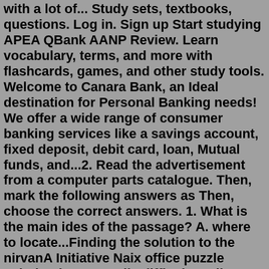with a lot of... Study sets, textbooks, questions. Log in. Sign up Start studying APEA QBank AANP Review. Learn vocabulary, terms, and more with flashcards, games, and other study tools. Welcome to Canara Bank, an Ideal destination for Personal Banking needs! We offer a wide range of consumer banking services like a savings account, fixed deposit, debit card, loan, Mutual funds, and...2. Read the advertisement from a computer parts catalogue. Then, mark the following answers as Then, choose the correct answers. 1. What is the main ides of the passage? A. where to locate...Finding the solution to the nirvanA Initiative Naix office puzzle solution isn't actually difficult at all. Before I straight-up give you the answer, I'll break down how you're meant to go about solving it, in case you...The standard of answers to the situational task of therapy. 1. Preliminary diagnosis: subacute disseminated pulmonary tuberculosis. 2. Additional examination plan: en. sputum and urine at the...From calculators and rate charts to get you started, to experienced loan officers